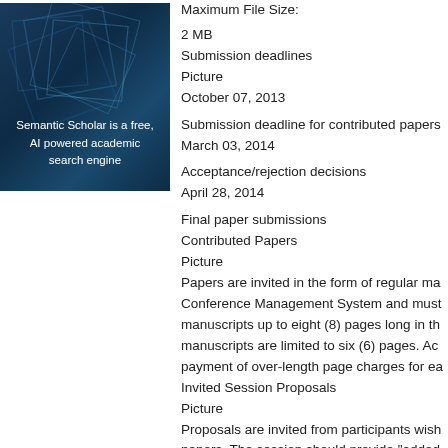[Figure (logo): Semantic Scholar logo box — dark blue with geometric overlapping squares and text: 'Semantic Scholar is a free, AI powered academic search engine']
Maximum File Size:

2 MB
Submission deadlines
Picture
October 07, 2013

Submission deadline for contributed papers
March 03, 2014

Acceptance/rejection decisions
April 28, 2014

Final paper submissions
Contributed Papers
Picture
Papers are invited in the form of regular ma... Conference Management System and must... manuscripts up to eight (8) pages long in th... manuscripts are limited to six (6) pages. Ac... payment of over-length page charges for ea...
Invited Session Proposals
Picture
Proposals are invited from participants wish... papers. The session should provide "added ... views on established problems that one wo...

Proposals for invited sessions must be subm... pages in the standard two-column ECC con... the proposed session, as well as an overvie... should be edited by for the duration...